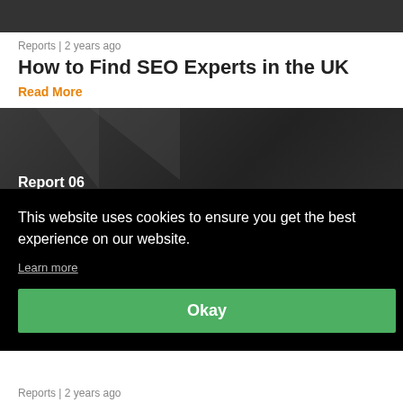[Figure (screenshot): Dark gray banner image at top of page]
Reports | 2 years ago
How to Find SEO Experts in the UK
Read More
[Figure (screenshot): Dark report cover image showing 'Report 06' label with a red horizontal line and partial white icons below it]
This website uses cookies to ensure you get the best experience on our website.
Learn more
Okay
Reports | 2 years ago